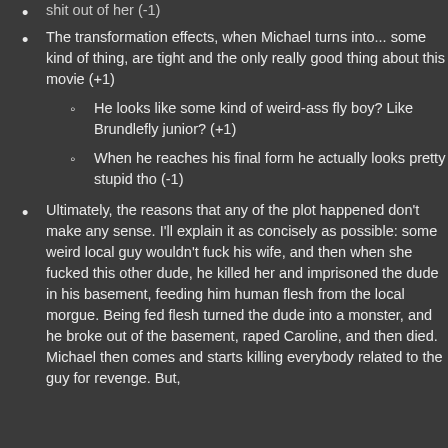shit out of her (-1)
The transformation effects, when Michael turns into... some kind of thing, are tight and the only really good thing about this movie (+1)
He looks like some kind of weird-ass fly boy? Like Brundlefly junior? (+1)
When he reaches his final form he actually looks pretty stupid tho (-1)
Ultimately, the reasons that any of the plot happened don't make any sense. I'll explain it as concisely as possible: some weird local guy wouldn't fuck his wife, and then when she fucked this other dude, he killed her and imprisoned the dude in his basement, feeding him human flesh from the local morgue. Being fed flesh turned the dude into a monster, and he broke out of the basement, raped Caroline, and then died. Michael then comes and starts killing everybody related to the guy for revenge. But,